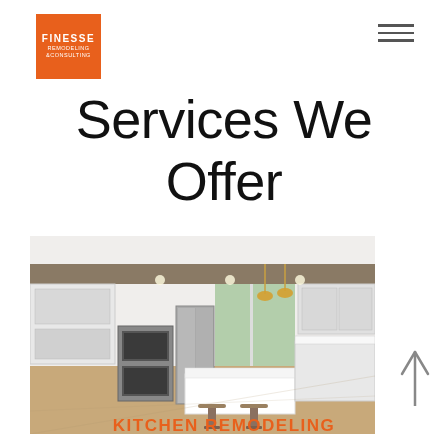[Figure (logo): Finesse Remodeling & Consulting logo — orange square with white text]
Services We Offer
[Figure (photo): Modern white kitchen remodel with island, bar stools, stainless steel appliances, pendant lights, and hardwood floors]
KITCHEN REMODELING